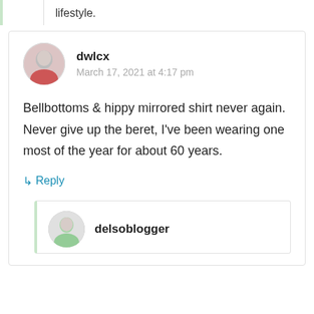lifestyle.
dwlcx
March 17, 2021 at 4:17 pm
Bellbottoms & hippy mirrored shirt never again. Never give up the beret, I've been wearing one most of the year for about 60 years.
↳ Reply
delsoblogger